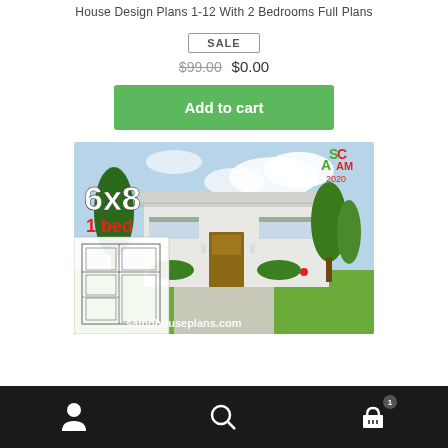House Design Plans 1-12 With 2 Bedrooms Full Plans
SALE
$99.00  $0.00
Add to cart
[Figure (photo): Exterior render of a modern single-story 6x8 house with 1 bedroom, labeled 'sambhouseplans.com', with floor plan inset in lower left and SAM 2020 logo upper right.]
User icon | Search icon | Cart icon (1)